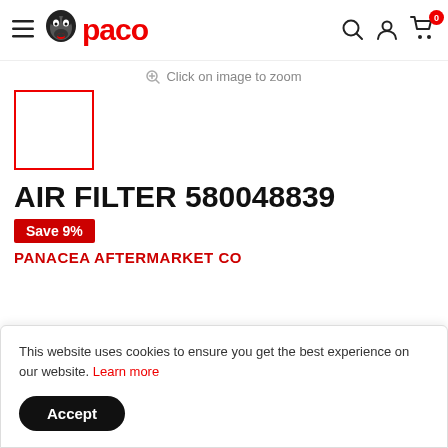paco — navigation header with hamburger menu, logo, search, account, and cart icons
Click on image to zoom
[Figure (photo): Product thumbnail image placeholder — red-bordered white square]
AIR FILTER 580048839
Save 9%
PANACEA AFTERMARKET CO
This website uses cookies to ensure you get the best experience on our website. Learn more
Accept